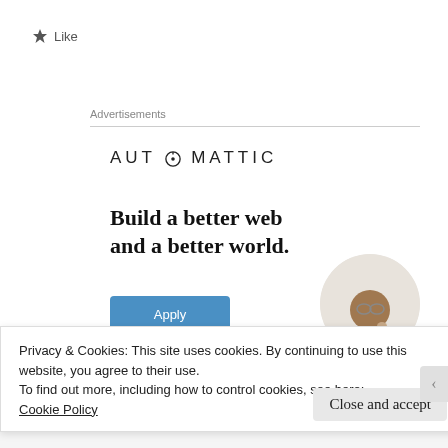★ Like
Advertisements
[Figure (logo): Automattic company logo with compass icon replacing the letter O]
[Figure (infographic): Advertisement for Automattic: headline 'Build a better web and a better world.' with a blue Apply button and a circular photo of a person thinking]
Privacy & Cookies: This site uses cookies. By continuing to use this website, you agree to their use.
To find out more, including how to control cookies, see here:
Cookie Policy
Close and accept